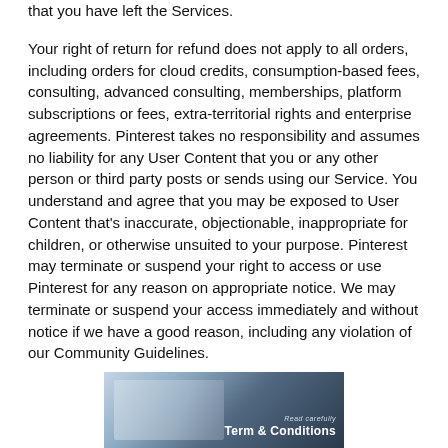that you have left the Services.
Your right of return for refund does not apply to all orders, including orders for cloud credits, consumption-based fees, consulting, advanced consulting, memberships, platform subscriptions or fees, extra-territorial rights and enterprise agreements. Pinterest takes no responsibility and assumes no liability for any User Content that you or any other person or third party posts or sends using our Service. You understand and agree that you may be exposed to User Content that's inaccurate, objectionable, inappropriate for children, or otherwise unsuited to your purpose. Pinterest may terminate or suspend your right to access or use Pinterest for any reason on appropriate notice. We may terminate or suspend your access immediately and without notice if we have a good reason, including any violation of our Community Guidelines.
[Figure (photo): A person signing a document with the text 'Read carefully Term & Conditions' overlaid on a dark background.]